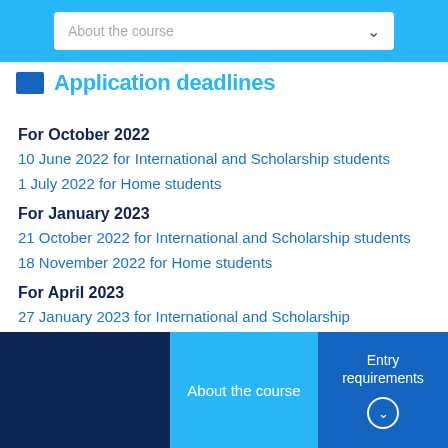About the course
Application deadlines
For October 2022
10 June 2022 for International and Scholarship students
1 July 2022 for Home students
For January 2023
21 October 2022 for International and Scholarship students
18 November 2022 for Home students
For April 2023
27 January 2023 for International and Scholarship
About the course   Entry requirements